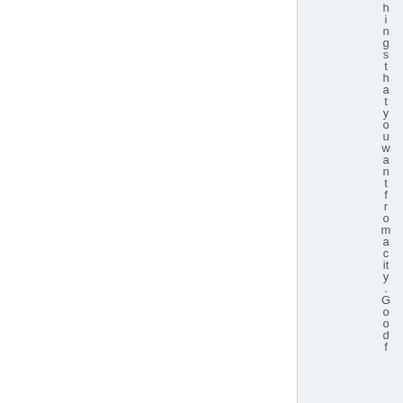hingsthatyouwantfromacity.Goodf